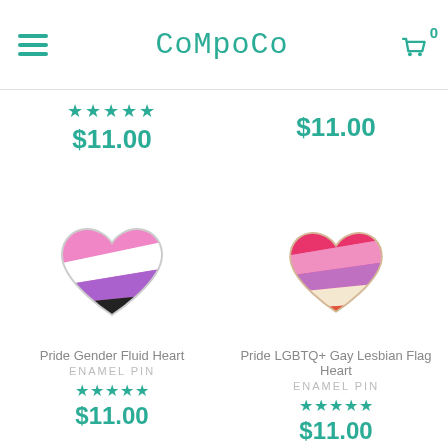CoMpoCo
★★★★★ $11.00
$11.00
[Figure (illustration): Heart-shaped enamel pin with gender fluid pride flag stripes: pink, white, purple, black, blue diagonal stripes.]
[Figure (illustration): Heart-shaped enamel pin with LGBTQ+ gay lesbian flag stripes: pink, purple, white, orange diagonal stripes.]
Pride Gender Fluid Heart
ENAMEL PIN
★★★★★
$11.00
Pride LGBTQ+ Gay Lesbian Flag Heart
ENAMEL PIN
★★★★★
$11.00